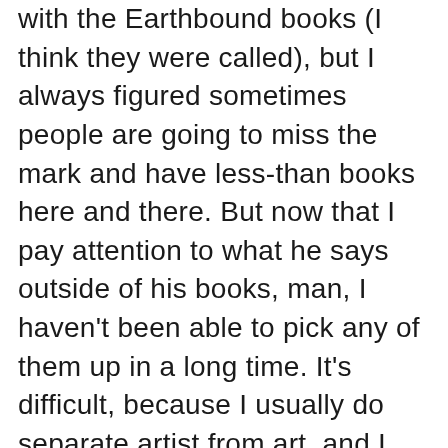with the Earthbound books (I think they were called), but I always figured sometimes people are going to miss the mark and have less-than books here and there. But now that I pay attention to what he says outside of his books, man, I haven't been able to pick any of them up in a long time. It's difficult, because I usually do separate artist from art, and I feel like it would be near to impossible to make sure that everything I consume hasn't been touch by douchebaggery somewhere along the way. But on some level, I feel so betrayed by his politics (specifically his, I